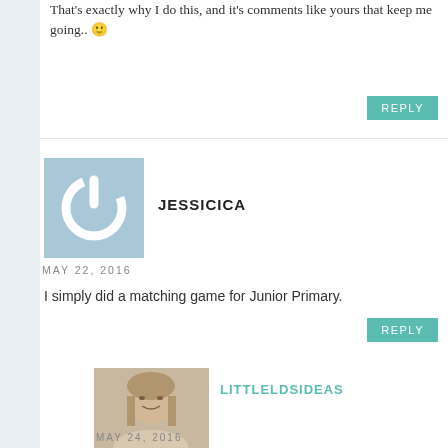That's exactly why I do this, and it's comments like yours that keep me going.. 🙂
REPLY
[Figure (other): Blue square avatar with a white power/user icon for user Jessicica]
JESSICICA
MAY 22, 2016
I simply did a matching game for Junior Primary.
REPLY
[Figure (photo): Profile photo of a woman with long hair smiling, for user littleldsideas]
LITTLELDSIDEAS
MAY 24, 2016